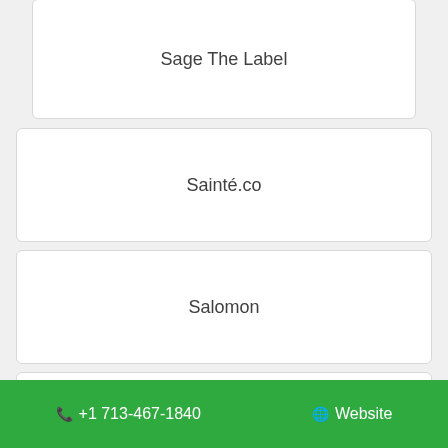Sage The Label
Sainté.co
Salomon
Salt & Stone
Samaya
📞 +1 713-467-1840   🌐 Website